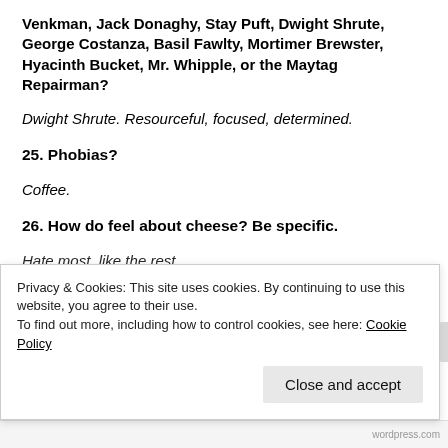Venkman, Jack Donaghy, Stay Puft, Dwight Shrute, George Costanza, Basil Fawlty, Mortimer Brewster, Hyacinth Bucket, Mr. Whipple, or the Maytag Repairman?
Dwight Shrute. Resourceful, focused, determined.
25. Phobias?
Coffee.
26. How do feel about cheese? Be specific.
Hate most, like the rest
Privacy & Cookies: This site uses cookies. By continuing to use this website, you agree to their use.
To find out more, including how to control cookies, see here: Cookie Policy
Close and accept